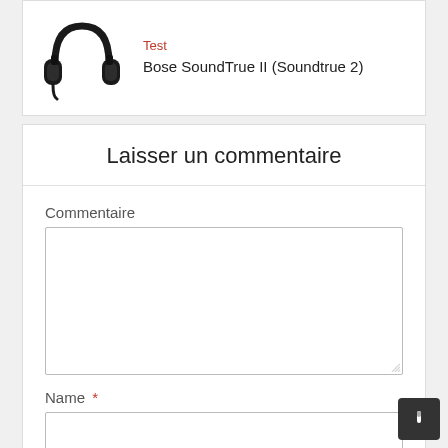[Figure (photo): Black over-ear Bose SoundTrue II headphones]
Test
Bose SoundTrue II (Soundtrue 2)
Laisser un commentaire
Commentaire
Name *
Email *